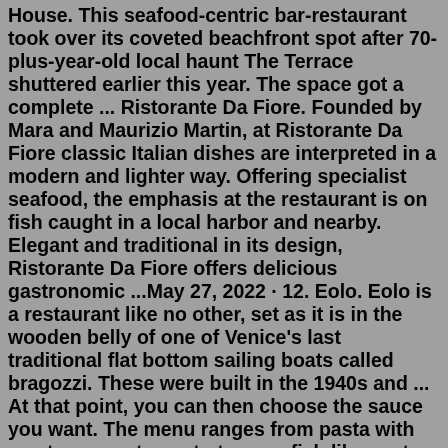House. This seafood-centric bar-restaurant took over its coveted beachfront spot after 70-plus-year-old local haunt The Terrace shuttered earlier this year. The space got a complete ... Ristorante Da Fiore. Founded by Mara and Maurizio Martin, at Ristorante Da Fiore classic Italian dishes are interpreted in a modern and lighter way. Offering specialist seafood, the emphasis at the restaurant is on fish caught in a local harbor and nearby. Elegant and traditional in its design, Ristorante Da Fiore offers delicious gastronomic ...May 27, 2022 · 12. Eolo. Eolo is a restaurant like no other, set as it is in the wooden belly of one of Venice's last traditional flat bottom sailing boats called bragozzi. These were built in the 1940s and ... At that point, you can then choose the sauce you want. The menu ranges from pasta with meat sauces, to pesto to even fish like pasta with sardines. A new experiment in my book has been successful! Address: Calle Crosera, 3829, 30123 Dorsoduro S. Pantalon, Venezia. Hours: 12 PM- 3:30 PM.Venice Restaurants; Gjelina 6. MICHELIN